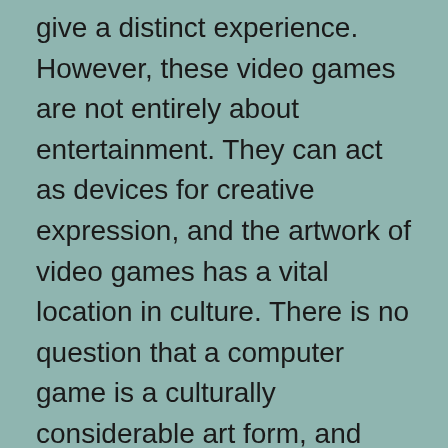give a distinct experience. However, these video games are not entirely about entertainment. They can act as devices for creative expression, and the artwork of video games has a vital location in culture. There is no question that a computer game is a culturally considerable art form, and also the art of computer game has actually been celebrated in various kinds. These art work are a representation of the artistry of the people that produced them.
A number of researches have revealed that video games can be a form of creative expression, the art to...